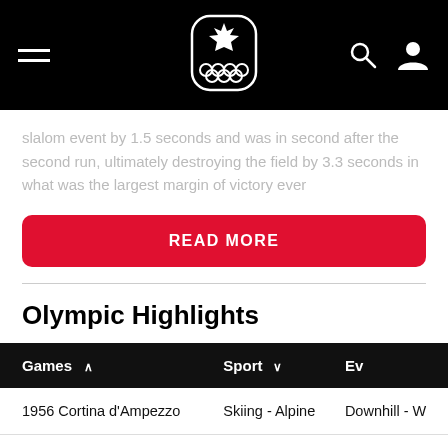Canadian Olympic Committee header navigation
slalom event by 1.5 seconds and was in second after the second run, ultimately destroying the field by 3.3 seconds in what was the largest margin of victory ever
READ MORE
Olympic Highlights
| Games | Sport | Ev |
| --- | --- | --- |
| 1956 Cortina d'Ampezzo | Skiing - Alpine | Downhill - W |
| 1956 Cortina d'Ampezzo | Skiing - Alpine | Giant Slalom |